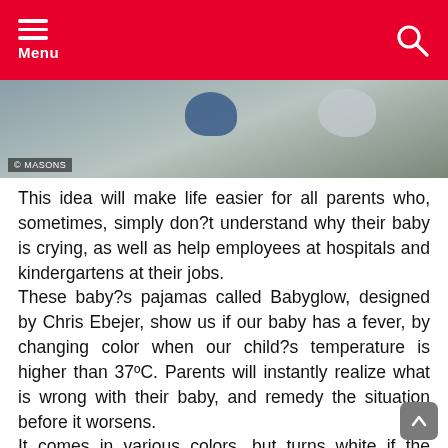Menu
[Figure (photo): Partial view of baby pajamas/plush toys on a carpet background, with a © MASONS watermark in the lower left.]
This idea will make life easier for all parents who, sometimes, simply don?t understand why their baby is crying, as well as help employees at hospitals and kindergartens at their jobs.
These baby?s pajamas called Babyglow, designed by Chris Ebejer, show us if our baby has a fever, by changing color when our child?s temperature is higher than 37ºC. Parents will instantly realize what is wrong with their baby, and remedy the situation before it worsens.
It comes in various colors, but turns white if the child?